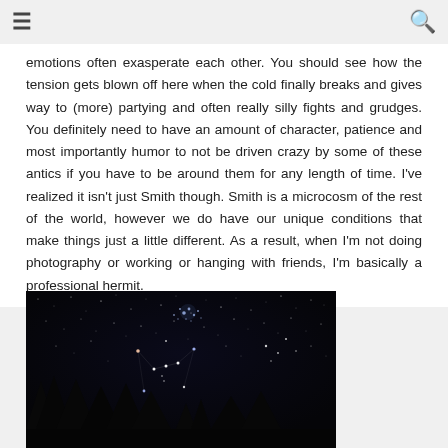☰  🔍
emotions often exasperate each other. You should see how the tension gets blown off here when the cold finally breaks and gives way to (more) partying and often really silly fights and grudges. You definitely need to have an amount of character, patience and most importantly humor to not be driven crazy by some of these antics if you have to be around them for any length of time. I've realized it isn't just Smith though. Smith is a microcosm of the rest of the world, however we do have our unique conditions that make things just a little different. As a result, when I'm not doing photography or working or hanging with friends, I'm basically a professional hermit.
[Figure (photo): Night sky photograph showing stars and constellations (possibly Orion) above dark silhouetted evergreen trees in foreground. A star cluster is visible in the upper portion of the image.]